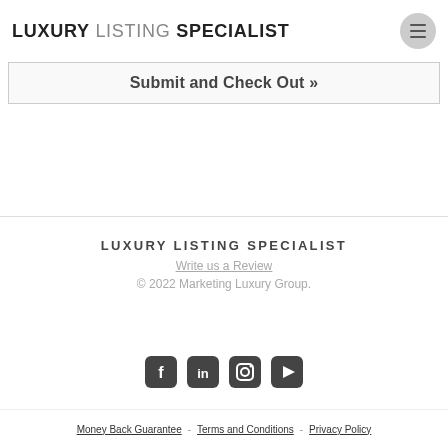LUXURY LISTING SPECIALIST
Submit and Check Out »
LUXURY LISTING SPECIALIST
Write us a Review
© 2022 Marketing Luxury Group.
[Figure (other): Social media icons: Facebook, LinkedIn, Instagram, YouTube]
Money Back Guarantee - Terms and Conditions - Privacy Policy